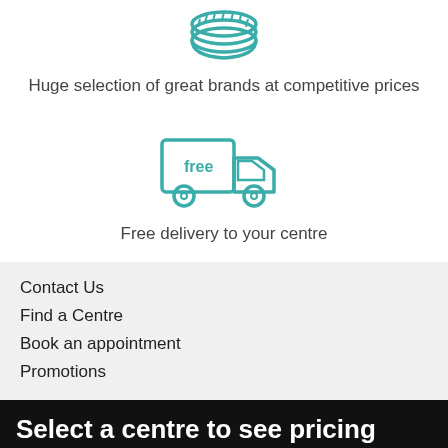[Figure (illustration): Teal outline icon of a stack of coins/tires (circular stack)]
Huge selection of great brands at competitive prices
[Figure (illustration): Teal outline icon of a delivery truck with the word 'free' on the side]
Free delivery to your centre
Contact Us
Find a Centre
Book an appointment
Promotions
Select a centre to see pricing
VIEW ALL SIZES